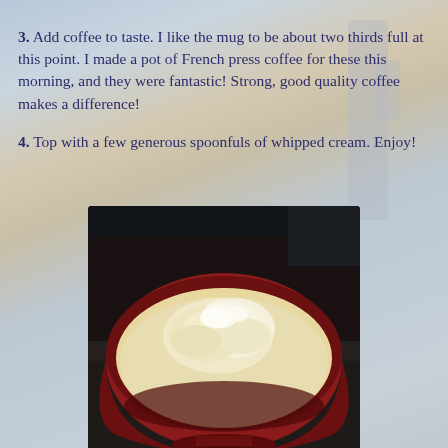3.  Add coffee to taste.  I like the mug to be about two thirds full at this point.  I made a pot of French press coffee for these this morning, and they were fantastic!  Strong, good quality coffee makes a difference!
4.  Top with a few generous spoonfuls of whipped cream.  Enjoy!
[Figure (photo): A red ceramic bowl or mug filled with a creamy white whipped cream topping, photographed from above at a slight angle on a dark surface.]